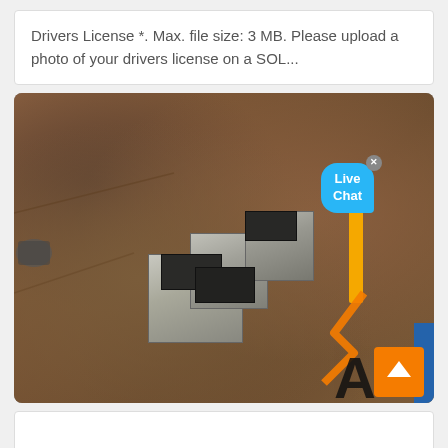Drivers License *. Max. file size: 3 MB. Please upload a photo of your drivers license on a SOL...
[Figure (screenshot): Aerial/overhead photograph of a construction or mining site showing concrete block structures with dark panel tops, machinery and equipment scattered across a dirt/earth surface. A 'Live Chat' bubble overlay appears in the upper right, and an orange arrow annotation plus scroll-to-top button appear in the lower right corner.]